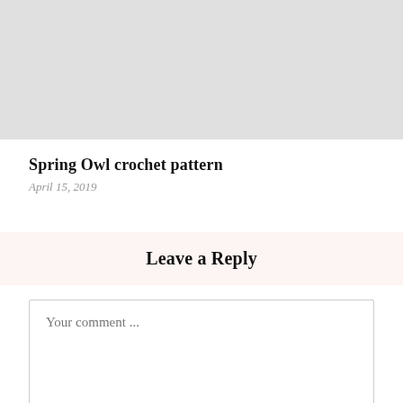[Figure (photo): Light gray image placeholder rectangle at top of page]
Spring Owl crochet pattern
April 15, 2019
Leave a Reply
Your comment ...